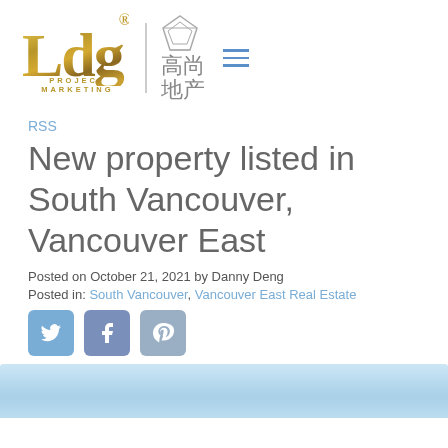[Figure (logo): LDG Project Marketing logo with gold stylized text and Chinese characters 高尚地产]
RSS
New property listed in South Vancouver, Vancouver East
Posted on October 21, 2021 by Danny Deng
Posted in: South Vancouver, Vancouver East Real Estate
[Figure (other): Social media share icons: Twitter, Facebook, Pinterest]
[Figure (photo): Partial view of a blue sky/water landscape image at bottom of page]